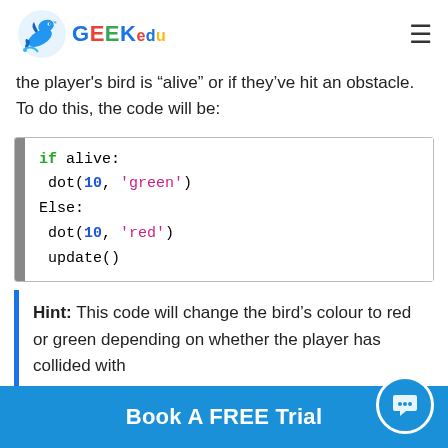[Figure (logo): GEEKedu logo with dolphin icon and colorful text]
the player's bird is “alive” or if they’ve hit an obstacle. To do this, the code will be:
[Figure (screenshot): Code block showing: if alive: dot(10, 'green') Else: dot(10, 'red') update()]
Hint: This code will change the bird’s colour to red or green depending on whether the player has collided with
Book A FREE Trial